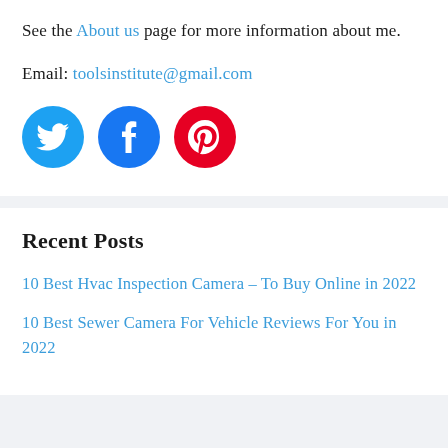See the About us page for more information about me.
Email: toolsinstitute@gmail.com
[Figure (illustration): Three social media icons: Twitter (blue circle), Facebook (dark blue circle), Pinterest (red circle)]
Recent Posts
10 Best Hvac Inspection Camera – To Buy Online in 2022
10 Best Sewer Camera For Vehicle Reviews For You in 2022